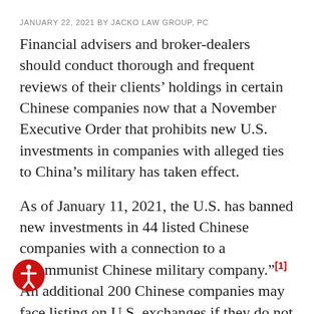JANUARY 22, 2021 BY JACKO LAW GROUP, PC
Financial advisers and broker-dealers should conduct thorough and frequent reviews of their clients’ holdings in certain Chinese companies now that a November Executive Order that prohibits new U.S. investments in companies with alleged ties to China’s military has taken effect.
As of January 11, 2021, the U.S. has banned new investments in 44 listed Chinese companies with a connection to a “Communist Chinese military company.”[1] An additional 200 Chinese companies may face listing on U.S. exchanges if they do not allow federal regulators to review auditing